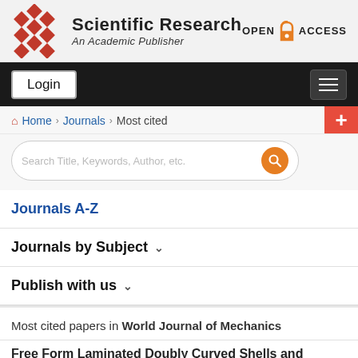[Figure (logo): Scientific Research publisher logo with red diamond pattern and text 'Scientific Research An Academic Publisher', plus Open Access lock icon]
[Figure (screenshot): Navigation bar with Login button and hamburger menu on dark background]
Home > Journals > Most cited
[Figure (screenshot): Search box with placeholder 'Search Title, Keywords, Author, etc.' and orange search button, plus red plus button]
Journals A-Z
Journals by Subject
Publish with us
Most cited papers in World Journal of Mechanics
Free Form Laminated Doubly Curved Shells and